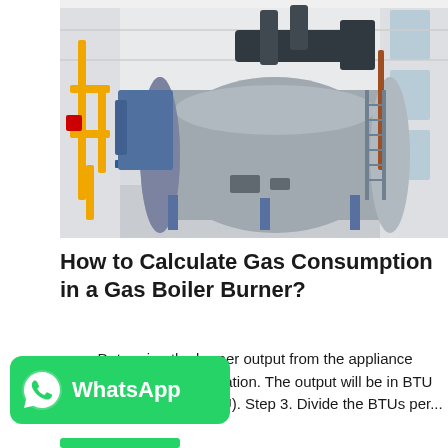[Figure (photo): Industrial gas boiler burner in a large white-walled facility. A large cylindrical grey boiler dominates the center, with yellow gas piping on the left side, blue structural supports, black exhaust ductwork on top, and a metal access ladder on the right side of the boiler.]
How to Calculate Gas Consumption in a Gas Boiler Burner?
[Figure (logo): WhatsApp button — green rounded rectangle with white WhatsApp phone icon and white bold text 'WhatsApp']
ep 2. Determine the burner output from the appliance sticker or user documentation. The output will be in BTU (for example, 40,000 BTU). Step 3. Divide the BTUs per...